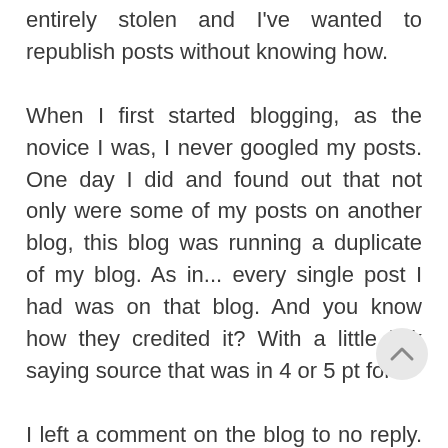entirely stolen and I've wanted to republish posts without knowing how.
When I first started blogging, as the novice I was, I never googled my posts. One day I did and found out that not only were some of my posts on another blog, this blog was running a duplicate of my blog. As in... every single post I had was on that blog. And you know how they credited it? With a little link saying source that was in 4 or 5 pt font.
I left a comment on the blog to no reply. I tried who.is but it was masked. So I sent a long email to site host and threatened to take it up with DMCA, 24hrs later the site was gone from the internet.
A couple of times my content has been stolen, it